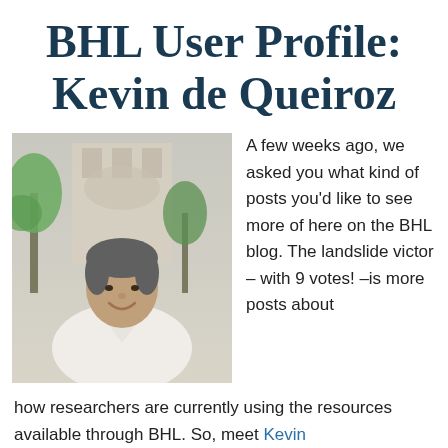BHL User Profile: Kevin de Queiroz
[Figure (photo): Portrait photo of Kevin de Queiroz, a man smiling outdoors in front of a historic building and palm tree, wearing a white linen shirt.]
A few weeks ago, we asked you what kind of posts you'd like to see more of here on the BHL blog. The landslide victor – with 9 votes! –is more posts about how researchers are currently using the resources available through BHL. So, meet Kevin